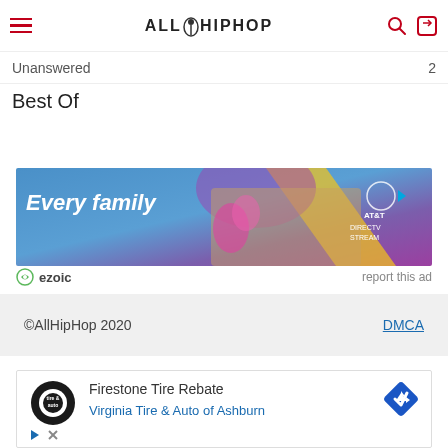AllHipHop
Unanswered
Best Of
[Figure (infographic): AT&T DIRECTV STREAM advertisement banner showing 'Every family' text with diverse group of people and AT&T logo]
ezoic   report this ad
©AllHipHop 2020   DMCA
[Figure (infographic): Firestone/Virginia Tire & Auto of Ashburn advertisement with circular tire logo and blue diamond directional icon, showing 'Firestone Tire Rebate' and 'Virginia Tire & Auto of Ashburn']